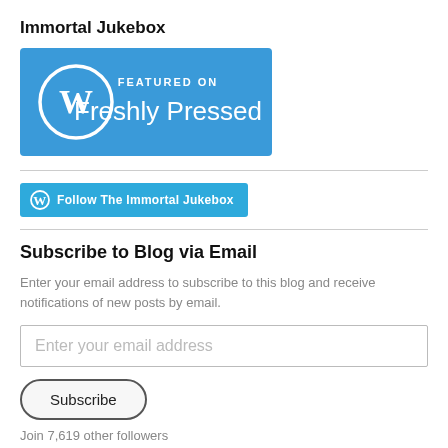Immortal Jukebox
[Figure (logo): WordPress Freshly Pressed badge — blue rectangle with WordPress logo and text 'FEATURED ON Freshly Pressed']
[Figure (logo): Follow button: WordPress logo icon with text 'Follow The Immortal Jukebox' on cyan/teal background]
Subscribe to Blog via Email
Enter your email address to subscribe to this blog and receive notifications of new posts by email.
Enter your email address
Subscribe
Join 7,619 other followers